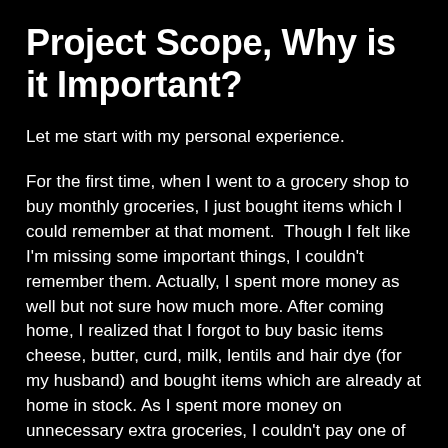Project Scope, Why is it Important?
Let me start with my personal experience.
For the first time, when I went to a grocery shop to buy monthly groceries, I just bought items which I could remember at that moment.  Though I felt like I'm missing some important things, I couldn't remember them. Actually, I spent more money as well but not sure how much more. After coming home, I realized that I forgot to buy basic items cheese, butter, curd, milk, lentils and hair dye (for my husband) and bought items which are already at home in stock. As I spent more money on unnecessary extra groceries, I couldn't pay one of monthly bills. This is what happens when you do not properly scope your project. If I had listed the